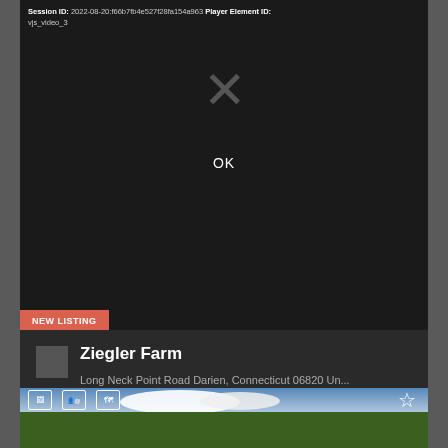Session ID: 2022-08-20:f66b7fb4e527f28fa154a963 Player Element ID: vjs_video_3
[Figure (screenshot): Dark video player with X mark and OK button, showing an error or blocked state. Session ID and Player Element ID shown at top.]
NEW LISTING
Ziegler Farm
Long Neck Point Road Darien, Connecticut 06820 Un...
$85,000,000
[Figure (photo): Outdoor property photo showing green trees against a blue sky with white clouds, partial view of a building/roof at upper right.]